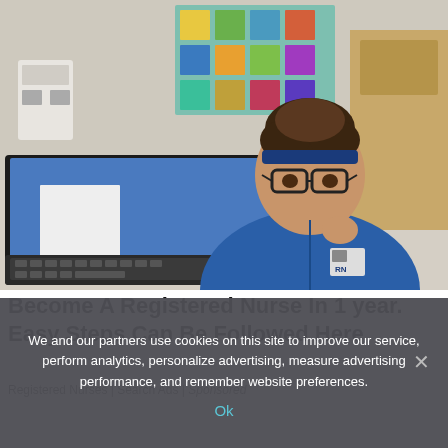[Figure (photo): Nurse wearing blue scrubs and RN badge sitting at a hospital desk with a computer monitor and keyboard in the background]
Become A Registered Nurse In 1 year. Easy Steps Can Be Followed Here
Registered Nurses | Search Ads | Sponsored
We and our partners use cookies on this site to improve our service, perform analytics, personalize advertising, measure advertising performance, and remember website preferences.
Ok